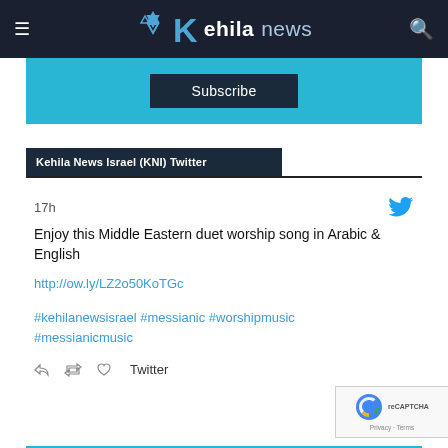Kehila news
[Figure (screenshot): Subscribe button on cyan background]
Kehila News Israel (KNI) Twitter
17h
Enjoy this Middle Eastern duet worship song in Arabic & English
http://ow.ly/LZ2o50KoTGc
#kehilanewsisrael #messianic #worshipmusic #messianicmusic
Twitter